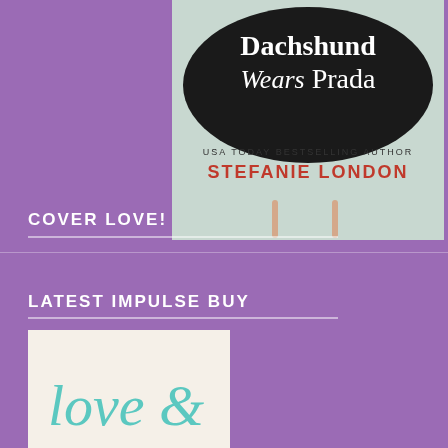[Figure (illustration): Book cover for 'The Dachshund Wears Prada' by Stefanie London (USA Today Bestselling Author). Dark rounded shape at top with white serif text 'Dachshund Wears Prada', and red bold text 'STEFANIE LONDON' at bottom on a light background.]
COVER LOVE!
LATEST IMPULSE BUY
[Figure (illustration): Book cover with cream/off-white background showing handwritten-style teal text reading 'Love &' (partially visible)]